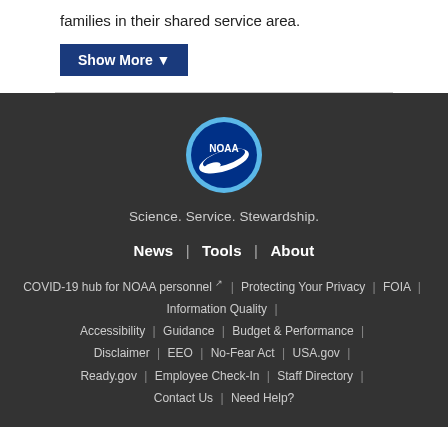families in their shared service area.
Show More ▼
[Figure (logo): NOAA circular logo with blue background, white bird/wing graphic, and 'NOAA' text]
Science. Service. Stewardship.
News | Tools | About
COVID-19 hub for NOAA personnel ↗ | Protecting Your Privacy | FOIA | Information Quality | Accessibility | Guidance | Budget & Performance | Disclaimer | EEO | No-Fear Act | USA.gov | Ready.gov | Employee Check-In | Staff Directory | Contact Us | Need Help?